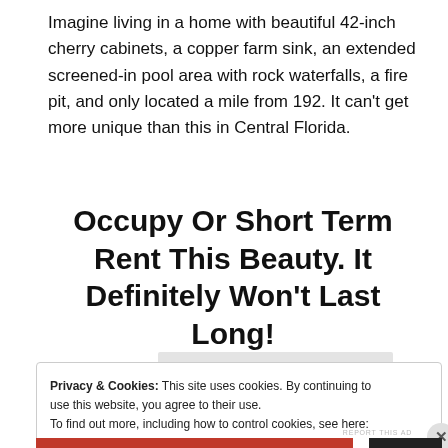Imagine living in a home with beautiful 42-inch cherry cabinets, a copper farm sink, an extended screened-in pool area with rock waterfalls, a fire pit, and only located a mile from 192. It can't get more unique than this in Central Florida.
Occupy Or Short Term Rent This Beauty. It Definitely Won't Last Long!
Privacy & Cookies: This site uses cookies. By continuing to use this website, you agree to their use.
To find out more, including how to control cookies, see here: Cookie Policy
Close and accept